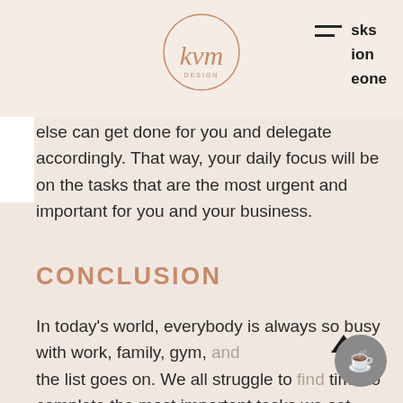kvm [logo] | sks | ion | eone
else can get done for you and delegate accordingly. That way, your daily focus will be on the tasks that are the most urgent and important for you and your business.
CONCLUSION
In today's world, everybody is always so busy with work, family, gym, and the list goes on. We all struggle to find time to complete the most important tasks we set ourselves to do each day, week, month and even year. The expression 'time flies' couldn't be more